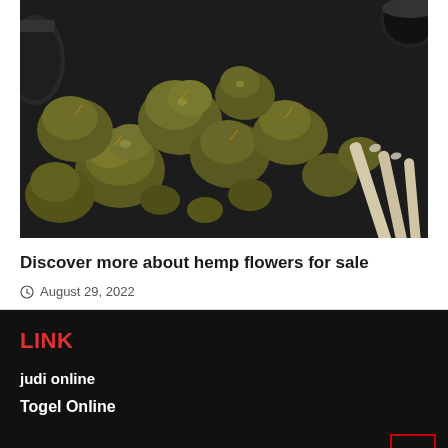[Figure (photo): Overhead photo of hemp/cannabis buds scattered on a dark surface, with rolled cigarettes/joints visible at the right side, and a glass jar in the upper left corner.]
Discover more about hemp flowers for sale
August 29, 2022
LINK
judi online
Togel Online